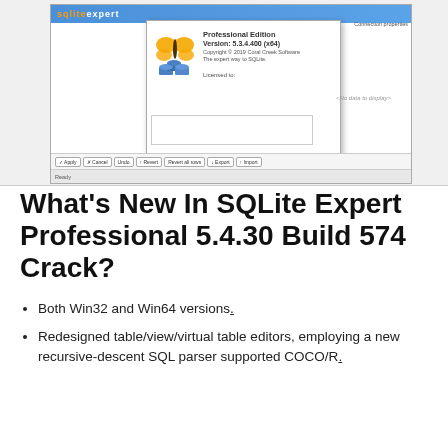[Figure (screenshot): Screenshot of SQLite Expert Professional application showing an About dialog with version 5.3.4.400 (x64), butterfly and database icon logo, Professional Edition text, copyright notice for Coral Creek Software, and a connection properties panel on the right.]
What's New In SQLite Expert Professional 5.4.30 Build 574 Crack?
Both Win32 and Win64 versions.
Redesigned table/view/virtual table editors, employing a new recursive-descent SQL parser supported COCO/R.